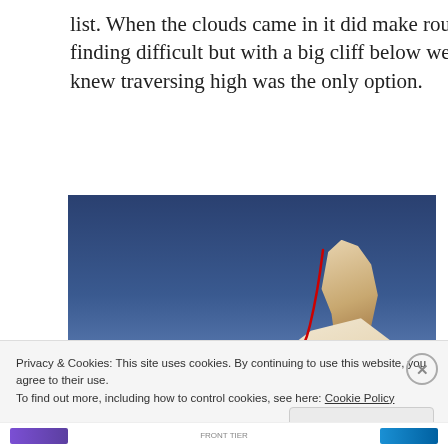list. When the clouds came in it did make route finding difficult but with a big cliff below we knew traversing high was the only option.
[Figure (photo): Mountain snow slope with a red route line drawn from bottom to a rock pinnacle at the top. The mountain face shows snow and rock lit by warm golden light against a deep blue sky.]
Privacy & Cookies: This site uses cookies. By continuing to use this website, you agree to their use.
To find out more, including how to control cookies, see here: Cookie Policy